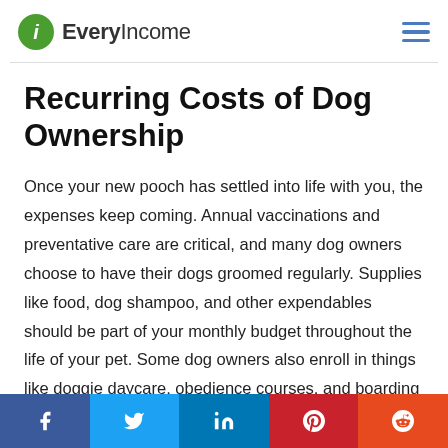EveryIncome
Recurring Costs of Dog Ownership
Once your new pooch has settled into life with you, the expenses keep coming. Annual vaccinations and preventative care are critical, and many dog owners choose to have their dogs groomed regularly. Supplies like food, dog shampoo, and other expendables should be part of your monthly budget throughout the life of your pet. Some dog owners also enroll in things like doggie daycare, obedience courses, and boarding while they travel.